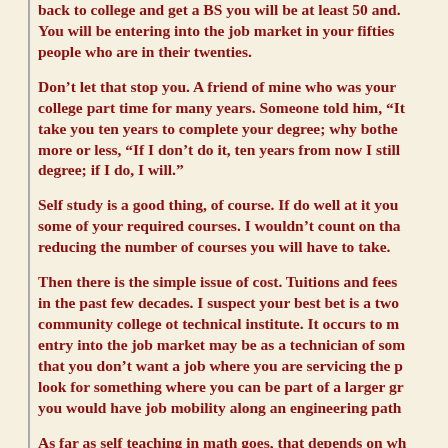back to college and get a BS you will be at least 50 and. You will be entering into the job market in your fifties people who are in their twenties.
Don't let that stop you. A friend of mine who was your college part time for many years. Someone told him, "It take you ten years to complete your degree; why bother more or less, "If I don't do it, ten years from now I still degree; if I do, I will."
Self study is a good thing, of course. If do well at it you some of your required courses. I wouldn't count on tha reducing the number of courses you will have to take.
Then there is the simple issue of cost. Tuitions and fees in the past few decades. I suspect your best bet is a two community college ot technical institute. It occurs to me entry into the job market may be as a technician of som that you don't want a job where you are servicing the p look for something where you can be part of a larger gr you would have job mobility along an engineering path
As far as self teaching in math goes, that depends on wh and what you remember. Whether or not you took calc probably a good idea to go through a calculus text and problems. You also definitely want to go through a Fin